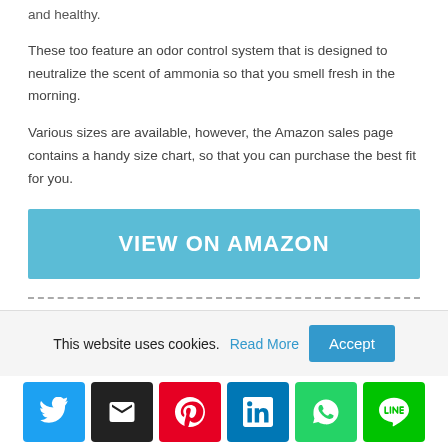and healthy.
These too feature an odor control system that is designed to neutralize the scent of ammonia so that you smell fresh in the morning.
Various sizes are available, however, the Amazon sales page contains a handy size chart, so that you can purchase the best fit for you.
[Figure (other): Blue button with white bold text: VIEW ON AMAZON]
3. BEST FOR DUAL USE (DAY OR
This website uses cookies. Read More Accept
[Figure (other): Social sharing bar with Twitter, Email, Pinterest, LinkedIn, WhatsApp, and LINE buttons]